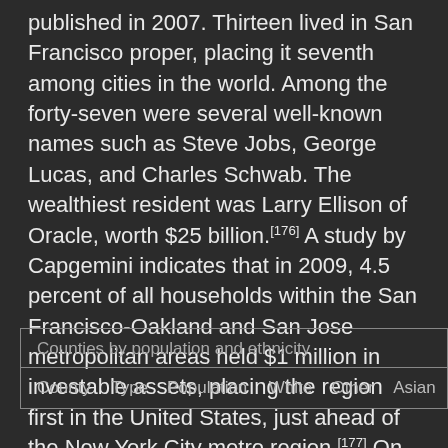published in 2007. Thirteen lived in San Francisco proper, placing it seventh among cities in the world. Among the forty-seven were several well-known names such as Steve Jobs, George Lucas, and Charles Schwab. The wealthiest resident was Larry Ellison of Oracle, worth $25 billion.[176] A study by Capgemini indicates that in 2009, 4.5 percent of all households within the San Francisco-Oakland and San Jose metropolitan areas held $1 million in investable assets, placing the region first in the United States, just ahead of the New York City metro region.[177] On the other hand, low income residents in the Bay Area saw their incomes fall by nine percent since 2007, with the bottom ten percent earning just $20,000 on average.[174]
| County | Type | Population | White | Other | Asian |
| --- | --- | --- | --- | --- | --- |